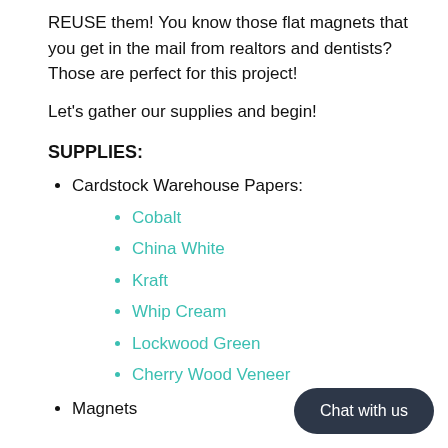REUSE them! You know those flat magnets that you get in the mail from realtors and dentists? Those are perfect for this project!
Let's gather our supplies and begin!
SUPPLIES:
Cardstock Warehouse Papers:
Cobalt
China White
Kraft
Whip Cream
Lockwood Green
Cherry Wood Veneer
Magnets